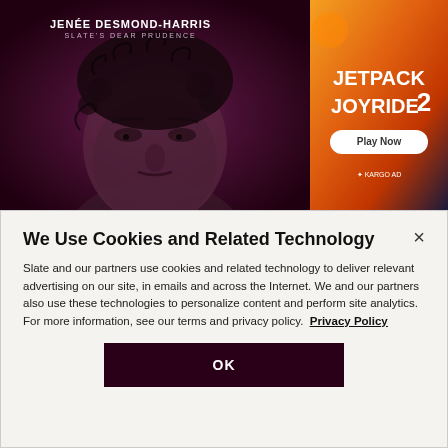[Figure (screenshot): Dark magenta/purple banner showing a woman's face with curly hair. Text overlay reads 'JENÉE DESMOND-HARRIS / SLATE'S DEAR PRUDENCE'. Right side shows a Jetpack Joyride 2 advertisement with 'Play Now' button and KARGO AD logo.]
We Use Cookies and Related Technology
Slate and our partners use cookies and related technology to deliver relevant advertising on our site, in emails and across the Internet. We and our partners also use these technologies to personalize content and perform site analytics. For more information, see our terms and privacy policy.  Privacy Policy